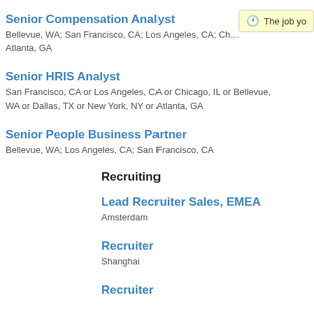Senior Compensation Analyst
Bellevue, WA; San Francisco, CA; Los Angeles, CA; Ch… Atlanta, GA
Senior HRIS Analyst
San Francisco, CA or Los Angeles, CA or Chicago, IL or Bellevue, WA or Dallas, TX or New York, NY or Atlanta, GA
Senior People Business Partner
Bellevue, WA; Los Angeles, CA; San Francisco, CA
Recruiting
Lead Recruiter Sales, EMEA
Amsterdam
Recruiter
Shanghai
Recruiter